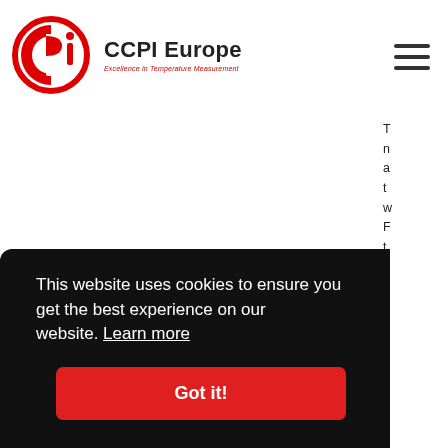CCPI Europe — Excellence in Temperature Measurement
[Figure (logo): CCPI Europe logo: red circular C and P i icon with company name and tagline 'Excellence in Temperature Measurement']
This website uses cookies to ensure you get the best experience on our website. Learn more
Got it!